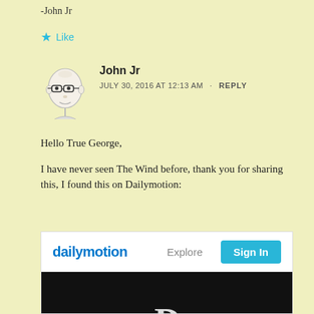-John Jr
★ Like
John Jr
JULY 30, 2016 AT 12:13 AM · REPLY
Hello True George,
I have never seen The Wind before, thank you for sharing this, I found this on Dailymotion:
[Figure (screenshot): Dailymotion website embed showing the Dailymotion logo, Explore link, Sign In button, and a dark video player area with a partial letter D visible.]